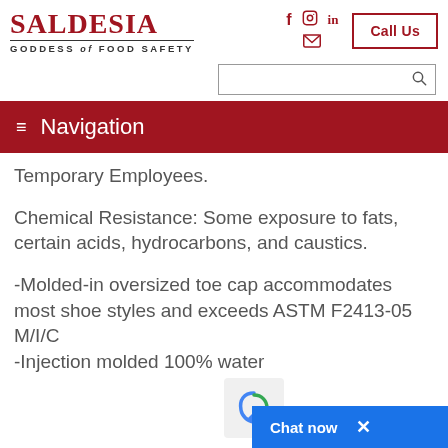SALDESIA GODDESS of FOOD SAFETY
Navigation
Temporary Employees.
Chemical Resistance: Some exposure to fats, certain acids, hydrocarbons, and caustics.
-Molded-in oversized toe cap accommodates most shoe styles and exceeds ASTM F2413-05 M/I/C
-Injection molded 100% water